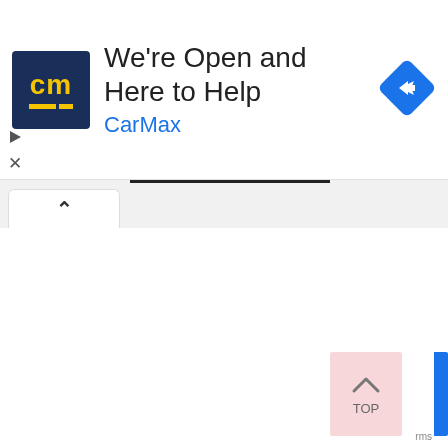[Figure (screenshot): CarMax advertisement banner showing 'We're Open and Here to Help' with CarMax logo (dark blue background with yellow 'cm' text) and a blue navigation/directions diamond icon on the right. Below the ad is a browser tab bar with a caret symbol, and the main content area is blank white. In the bottom right corner is a pink 'TOP' button with an upward caret arrow.]